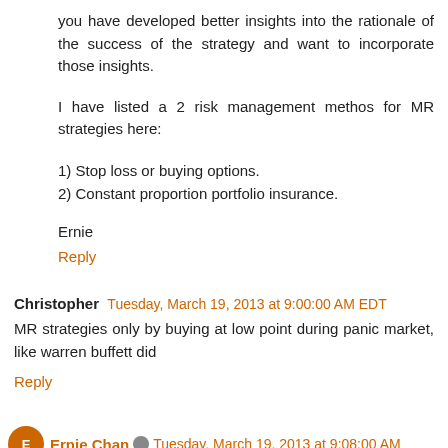you have developed better insights into the rationale of the success of the strategy and want to incorporate those insights.
I have listed a 2 risk management methos for MR strategies here:
1) Stop loss or buying options.
2) Constant proportion portfolio insurance.
Ernie
Reply
Christopher  Tuesday, March 19, 2013 at 9:00:00 AM EDT
MR strategies only by buying at low point during panic market, like warren buffett did
Reply
Ernie Chan  Tuesday, March 19, 2013 at 9:08:00 AM